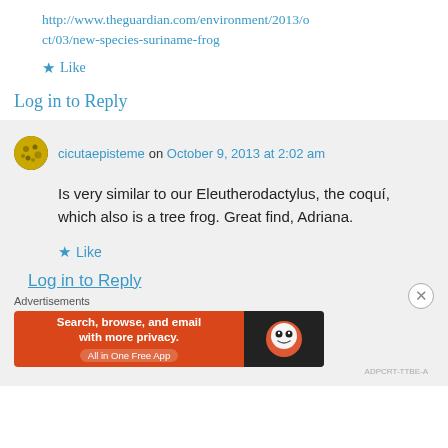http://www.theguardian.com/environment/2013/oct/03/new-species-suriname-frog
★ Like
Log in to Reply
cicutaepisteme on October 9, 2013 at 2:02 am
Is very similar to our Eleutherodactylus, the coquí, which also is a tree frog. Great find, Adriana.
★ Like
Log in to Reply
Advertisements
[Figure (screenshot): DuckDuckGo advertisement banner: orange background with text 'Search, browse, and email with more privacy. All in One Free App' and DuckDuckGo duck logo on dark background]